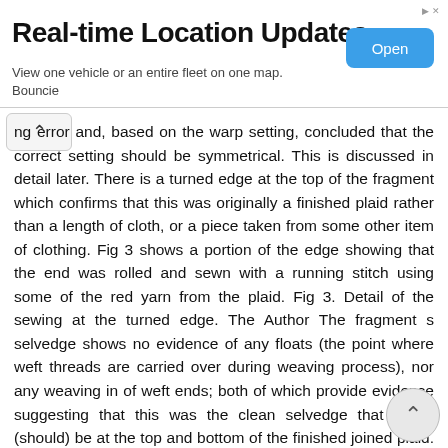[Figure (other): Advertisement banner for 'Bouncie' showing 'Real-time Location Updates' with Open button]
ng error and, based on the warp setting, concluded that the correct setting should be symmetrical. This is discussed in detail later. There is a turned edge at the top of the fragment which confirms that this was originally a finished plaid rather than a length of cloth, or a piece taken from some other item of clothing. Fig 3 shows a portion of the edge showing that the end was rolled and sewn with a running stitch using some of the red yarn from the plaid. Fig 3. Detail of the sewing at the turned edge. The Author The fragment s selvedge shows no evidence of any floats (the point where weft threads are carried over during weaving process), nor any weaving in of weft ends; both of which provide evidence suggesting that this was the clean selvedge that would (should) be at the top and bottom of the finished joined plaid. The Original Plaid We would have been left with my conjecture of the correct setting but for a remarkable coincidence. Less than a month after tracking down the MS fragment, I was contacted about a well-